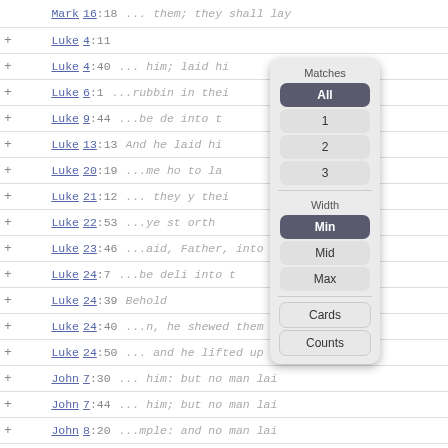|  | Book | Ref | Snippet |
| --- | --- | --- | --- |
|  | Mark | 16:18 | ... them; they shall lay |
| + | Luke | 4:11 | their |
| + | Luke | 4:40 | ... him; laid hi |
| + | Luke | 6:1 | ...rubbin in thei |
| + | Luke | 9:44 | ...be de into t |
| + | Luke | 13:13 | And he laid hi |
| + | Luke | 20:19 | ...me ho to la |
| + | Luke | 21:12 | ... they y thei |
| + | Luke | 22:53 | ...ye st orth |
| + | Luke | 23:46 | ...aid, Father, into t |
| + | Luke | 24:7 | ...be deli into t |
| + | Luke | 24:39 | Behold |
| + | Luke | 24:40 | ...n, he shewed them h |
| + | Luke | 24:50 | ... and he lifted up h |
| + | John | 7:30 | ... him: but no man lai |
| + | John | 7:44 | ... him; but no man lai |
| + | John | 8:20 | ...mple: and no man lai |
| + | John | 13:3 | ...n all things into h |
| + | John | 13:9 | ...eet only, but also |
| + | John | 19:2 | smote him with t |
[Figure (screenshot): Dropdown filter panel with Matches section (All, 1, 2, 3 buttons) and Width section (Min selected, Mid, Max buttons), plus Cards and Counts buttons at bottom]